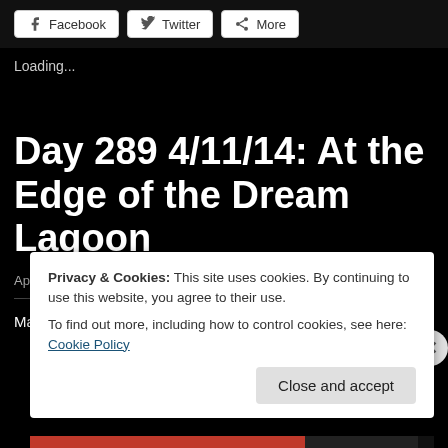[Figure (screenshot): Share buttons row: Facebook, Twitter, More]
Loading...
Day 289 4/11/14: At the Edge of the Dream Lagoon
April 11, 2014 in shark dreams and tagged shark dreams | 2 Comments
Maybe it was all
Privacy & Cookies: This site uses cookies. By continuing to use this website, you agree to their use.
To find out more, including how to control cookies, see here: Cookie Policy
Close and accept